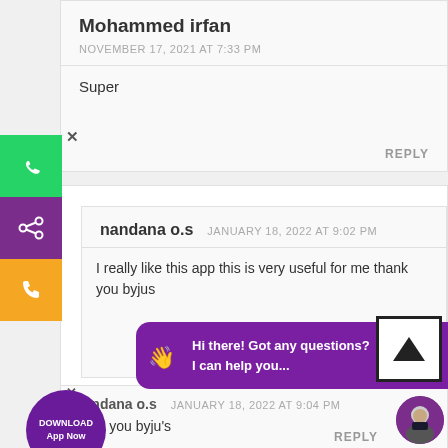Mohammed irfan
NOVEMBER 17, 2021 AT 7:33 PM
Super
REPLY
nandana o.s
JANUARY 18, 2022 AT 9:02 PM
I really like this app this is very useful for me thank you byjus
REPLY
Hi there! Got any questions? I can help you...
nandana o.s
JANUARY 18, 2022 AT 9:04 PM
hank you byju's
REPLY
DOWNLOAD
App Now